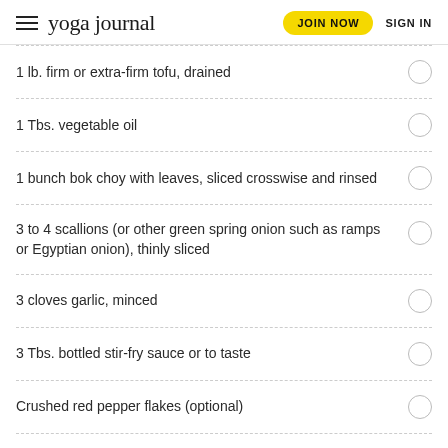yoga journal | JOIN NOW | SIGN IN
1 lb. firm or extra-firm tofu, drained
1 Tbs. vegetable oil
1 bunch bok choy with leaves, sliced crosswise and rinsed
3 to 4 scallions (or other green spring onion such as ramps or Egyptian onion), thinly sliced
3 cloves garlic, minced
3 Tbs. bottled stir-fry sauce or to taste
Crushed red pepper flakes (optional)